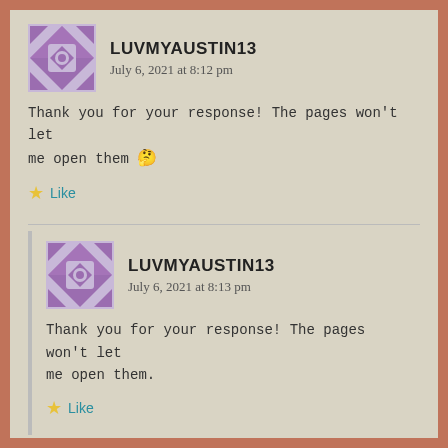LUVMYAUSTIN13 — July 6, 2021 at 8:12 pm
Thank you for your response! The pages won't let me open them 🤔
Like
LUVMYAUSTIN13 — July 6, 2021 at 8:13 pm
Thank you for your response! The pages won't let me open them.
Like
MCLADNIA...